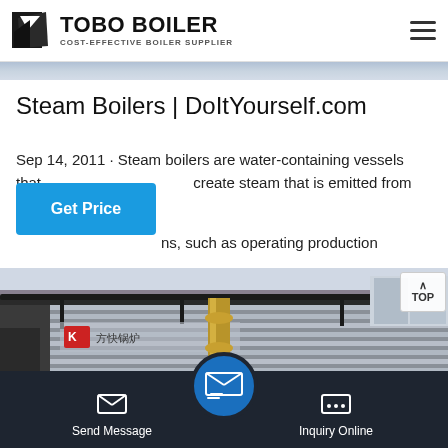TOBO BOILER — COST-EFFECTIVE BOILER SUPPLIER
[Figure (photo): Thin blue/grey hero image strip at top of page]
Steam Boilers | DoItYourself.com
Sep 14, 2011 · Steam boilers are water-containing vessels that create steam that is emitted from the boilers for ns, such as operating production equipment, sterilizing, heating, steam cleaning, and powering trains, ships, a...
[Figure (photo): Industrial steam boiler in a manufacturing facility, corrugated metal casing with Chinese signage reading 方快锅炉, golden/brass pipe visible in foreground]
WhatsApp
Send Message   Inquiry Online